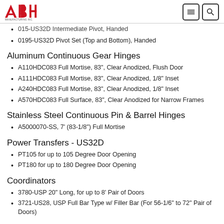ABH Manufacturing Inc.
015-US32D Intermediate Pivot, Handed
0195-US32D Pivot Set (Top and Bottom), Handed
Aluminum Continuous Gear Hinges
A110HDC083 Full Mortise, 83", Clear Anodized, Flush Door
A111HDC083 Full Mortise, 83", Clear Anodized, 1/8" Inset
A240HDC083 Full Mortise, 83", Clear Anodized, 1/8" Inset
A570HDC083 Full Surface, 83", Clear Anodized for Narrow Frames
Stainless Steel Continuous Pin & Barrel Hinges
A5000070-SS, 7' (83-1/8") Full Mortise
Power Transfers - US32D
PT105 for up to 105 Degree Door Opening
PT180 for up to 180 Degree Door Opening
Coordinators
3780-USP 20" Long, for up to 8' Pair of Doors
3721-US28, USP Full Bar Type w/ Filler Bar (For 56-1/6" to 72" Pair of Doors)